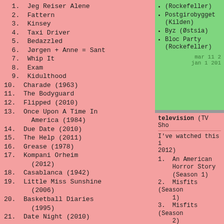1. Jeg Reiser Alene
2. Fattern
3. Kinsey
4. Taxi Driver
5. Bedazzled
6. Jørgen + Anne = Sant
7. Whip It
8. Exam
9. Kidulthood
10. Charade (1963)
11. The Bodyguard
12. Flipped (2010)
13. Once Upon A Time In America (1984)
14. Due Date (2010)
15. The Help (2011)
16. Grease (1978)
17. Kompani Orheim (2012)
18. Casablanca (1942)
19. Little Miss Sunshine (2006)
20. Basketball Diaries (1995)
21. Date Night (2010)
(Rockefeller)
Postgirobygget (Kilden)
Byz (Østsia)
Bloc Party (Rockefeller)
mar 11 2
jan 1 201
television (TV Sho
I've watched this i 2012)
1. An American Horror Story (Season 1)
2. Misfits (Season 1)
3. Misfits (Season 2)
4. Misfits (Season 3)
5. Special Victims Unit (Season 1)